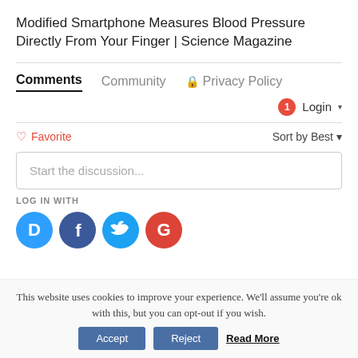Modified Smartphone Measures Blood Pressure Directly From Your Finger | Science Magazine
Comments  Community  🔒 Privacy Policy
🔴1  Login ▾
♡ Favorite    Sort by Best ▾
Start the discussion...
LOG IN WITH
[Figure (infographic): Social login icons: Disqus (blue speech bubble with D), Facebook (dark blue circle with f), Twitter (light blue circle with bird), Google (red circle with G)]
This website uses cookies to improve your experience. We'll assume you're ok with this, but you can opt-out if you wish.
Accept  Reject  Read More